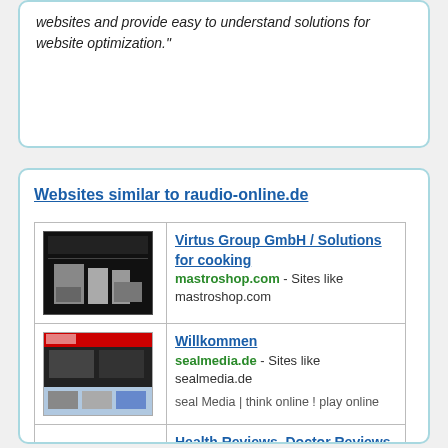websites and provide easy to understand solutions for website optimization."
Websites similar to raudio-online.de
| Thumbnail | Site Info |
| --- | --- |
| [screenshot of mastroshop.com] | Virtus Group GmbH / Solutions for cooking
mastroshop.com - Sites like mastroshop.com |
| [screenshot of sealmedia.de] | Willkommen
sealmedia.de - Sites like sealmedia.de
seal Media | think online ! play online |
|  | Health Reviews, Doctor Reviews, Hospital Ratings & Clinics |